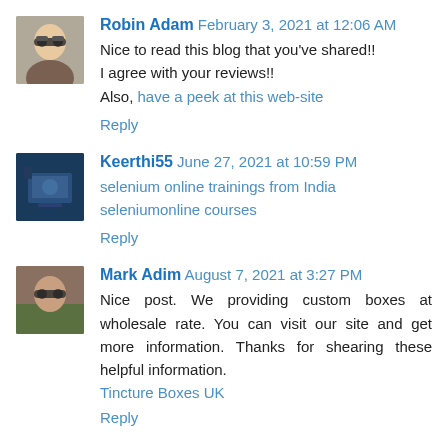[Figure (photo): Avatar photo of Robin Adam - person with sunglasses]
Robin Adam February 3, 2021 at 12:06 AM
Nice to read this blog that you've shared!!
I agree with your reviews!!
Also, have a peek at this web-site
Reply
[Figure (photo): Avatar photo of Keerthi55 - dark blue background with laptop/monitor]
Keerthi55 June 27, 2021 at 10:59 PM
selenium online trainings from India
seleniumonline courses
Reply
[Figure (photo): Avatar photo of Mark Adim - person with sunglasses outdoors]
Mark Adim August 7, 2021 at 3:27 PM
Nice post. We providing custom boxes at wholesale rate. You can visit our site and get more information. Thanks for shearing these helpful information.
Tincture Boxes UK
Reply